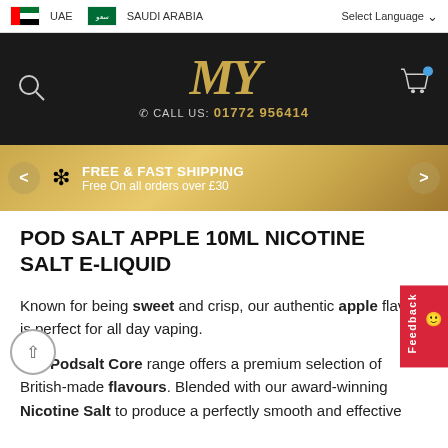UAE  SAUDI ARABIA  Select Language
[Figure (screenshot): MY Vapes website header with gold 'MY' logo, search icon, cart icon, and phone number: CALL US: 01772 956414]
[Figure (infographic): Gold banner: FREE & FAST SHIPPING - Free On all orders over £30, with left and right carousel arrows]
POD SALT APPLE 10ML NICOTINE SALT E-LIQUID
Known for being sweet and crisp, our authentic apple flavour is perfect for all day vaping.
The Podsalt Core range offers a premium selection of British-made flavours. Blended with our award-winning Nicotine Salt to produce a perfectly smooth and effective